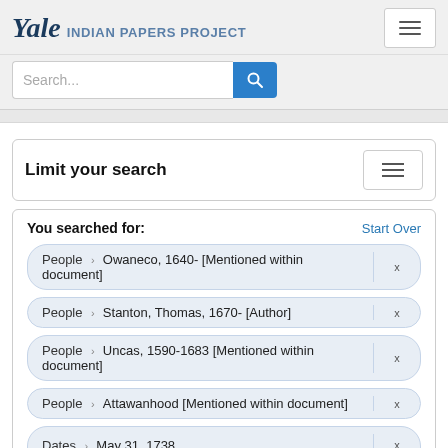Yale INDIAN PAPERS PROJECT
Search...
Limit your search
You searched for:  Start Over
People › Owaneco, 1640- [Mentioned within document]
People › Stanton, Thomas, 1670- [Author]
People › Uncas, 1590-1683 [Mentioned within document]
People › Attawanhood [Mentioned within document]
Dates › May 31, 1738